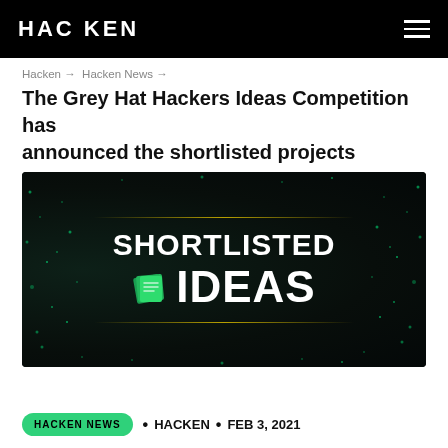HACKEN
Hacken → Hacken News →
The Grey Hat Hackers Ideas Competition has announced the shortlisted projects
[Figure (illustration): Dark background with glowing green dots pattern. Bold white text reads 'SHORTLISTED IDEAS' with a green stacked-pages icon to the left of IDEAS. Thin gold horizontal lines frame the text above and below.]
HACKEN NEWS • HACKEN • FEB 3, 2021